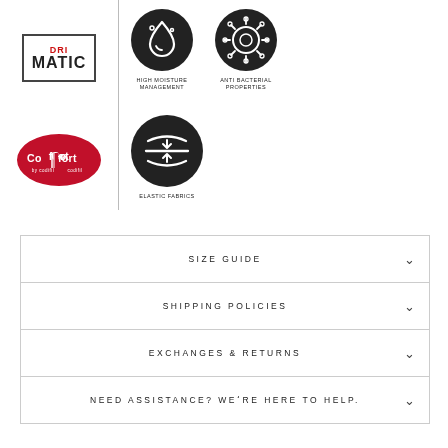[Figure (logo): DRI-MATIC logo in a bordered box with red DRI text and black MATIC text]
[Figure (logo): Comfort by Codifil oval red logo]
[Figure (infographic): Three circular icons: High Moisture Management (water droplet), Anti Bacterial Properties (shield with bacteria), and Elastic Fabrics (compression arrows)]
HIGH MOISTURE MANAGEMENT
ANTI BACTERIAL PROPERTIES
ELASTIC FABRICS
SIZE GUIDE
SHIPPING POLICIES
EXCHANGES & RETURNS
NEED ASSISTANCE? WE'RE HERE TO HELP.